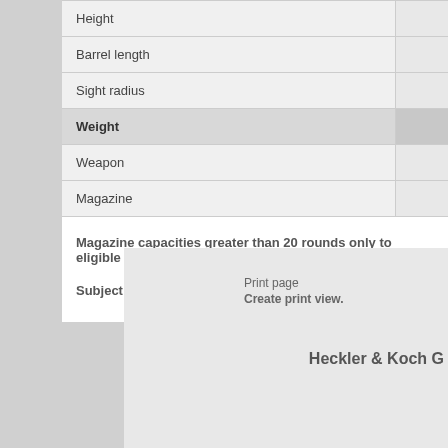| Property | Value |
| --- | --- |
| Height |  |
| Barrel length |  |
| Sight radius |  |
| Weight |  |
| Weapon |  |
| Magazine |  |
Magazine capacities greater than 20 rounds only to eligible personnel
Subject to modification
Print page
Create print view.
Heckler & Koch G